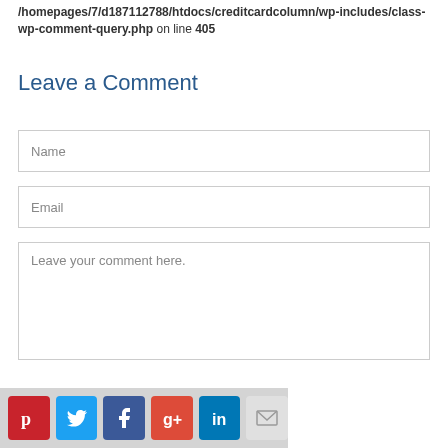/homepages/7/d187112788/htdocs/creditcardcolumn/wp-includes/class-wp-comment-query.php on line 405
Leave a Comment
Name
Email
Leave your comment here.
[Figure (other): Social media sharing icons bar: Pinterest, Twitter, Facebook, Google+, LinkedIn, Email]